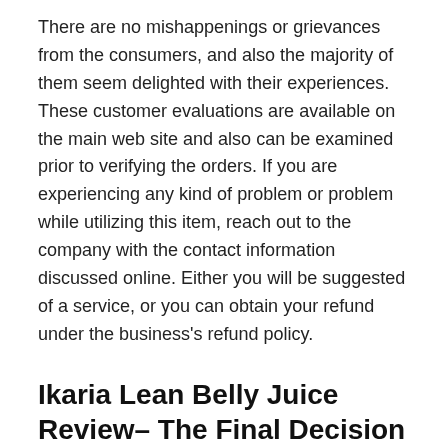There are no mishappenings or grievances from the consumers, and also the majority of them seem delighted with their experiences. These customer evaluations are available on the main web site and also can be examined prior to verifying the orders. If you are experiencing any kind of problem or problem while utilizing this item, reach out to the company with the contact information discussed online. Either you will be suggested of a service, or you can obtain your refund under the business's refund policy.
Ikaria Lean Belly Juice Review– The Final Decision
From the details supplied above, Ikaria Lean Belly